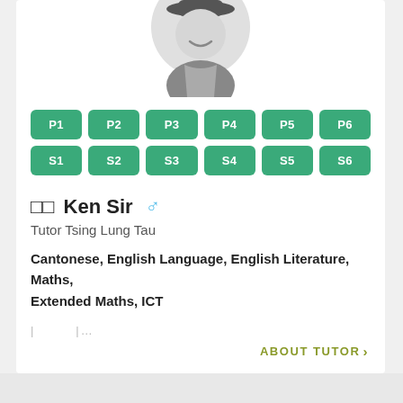[Figure (illustration): Cartoon avatar of a person wearing a grey outfit and hat, partially cropped at top]
P1 P2 P3 P4 P5 P6 S1 S2 S3 S4 S5 S6
Ken Sir
Tutor Tsing Lung Tau
Cantonese, English Language, English Literature, Maths, Extended Maths, ICT
ABOUT TUTOR >